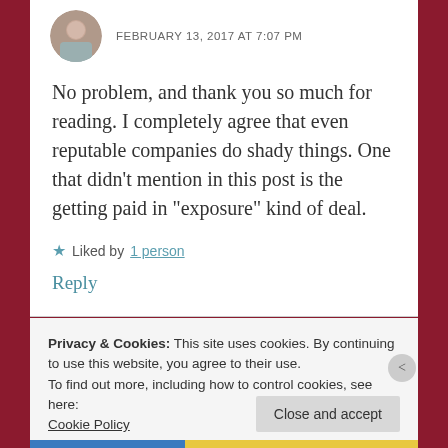FEBRUARY 13, 2017 AT 7:07 PM
No problem, and thank you so much for reading. I completely agree that even reputable companies do shady things. One that didn’t mention in this post is the getting paid in “exposure” kind of deal.
★ Liked by 1 person
Reply
Privacy & Cookies: This site uses cookies. By continuing to use this website, you agree to their use.
To find out more, including how to control cookies, see here:
Cookie Policy
Close and accept